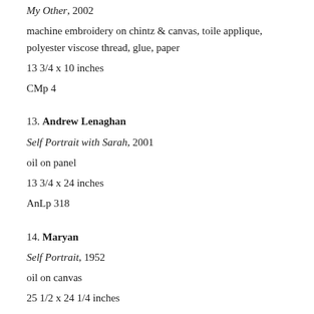My Other, 2002
machine embroidery on chintz & canvas, toile applique, polyester viscose thread, glue, paper
13 3/4 x 10 inches
CMp 4
13. Andrew Lenaghan
Self Portrait with Sarah, 2001
oil on panel
13 3/4 x 24 inches
AnLp 318
14. Maryan
Self Portrait, 1952
oil on canvas
25 1/2 x 24 1/4 inches
MMp 33